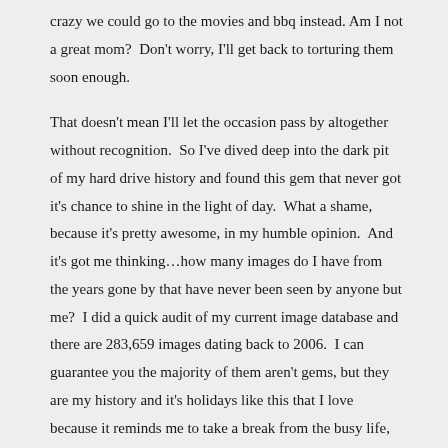crazy we could go to the movies and bbq instead. Am I not a great mom?  Don't worry, I'll get back to torturing them soon enough.
That doesn't mean I'll let the occasion pass by altogether without recognition.  So I've dived deep into the dark pit of my hard drive history and found this gem that never got it's chance to shine in the light of day.  What a shame, because it's pretty awesome, in my humble opinion.  And it's got me thinking…how many images do I have from the years gone by that have never been seen by anyone but me?  I did a quick audit of my current image database and there are 283,659 images dating back to 2006.  I can guarantee you the majority of them aren't gems, but they are my history and it's holidays like this that I love because it reminds me to take a break from the busy life, spend time with